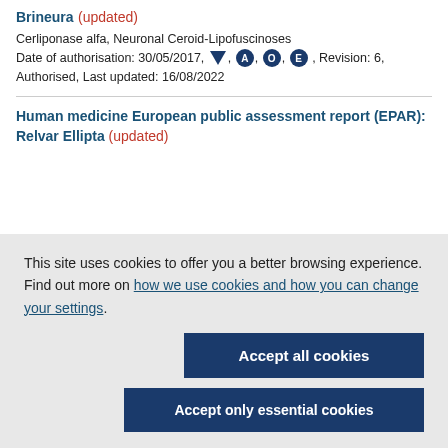Brineura (updated)
Cerliponase alfa, Neuronal Ceroid-Lipofuscinoses
Date of authorisation: 30/05/2017, [triangle], A, O, E, Revision: 6, Authorised, Last updated: 16/08/2022
Human medicine European public assessment report (EPAR): Relvar Ellipta (updated)
This site uses cookies to offer you a better browsing experience. Find out more on how we use cookies and how you can change your settings.
Accept all cookies
Accept only essential cookies